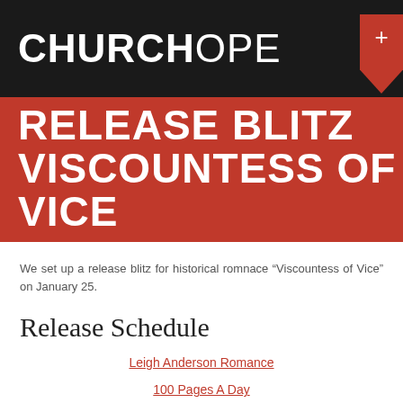CHURCHOPE
RELEASE BLITZ
VISCOUNTESS OF VICE
We set up a release blitz for historical romnace “Viscountess of Vice” on January 25.
Release Schedule
Leigh Anderson Romance
100 Pages A Day
Annette Gisby’s Blog
Maari Loves Her Indies